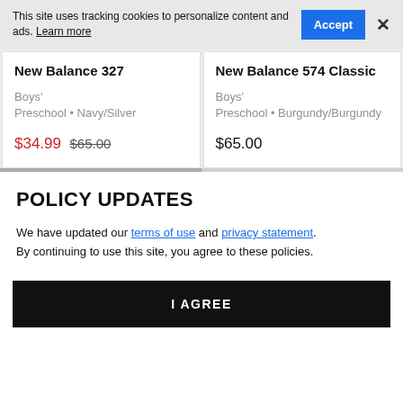This site uses tracking cookies to personalize content and ads. Learn more
New Balance 327
Boys' Preschool • Navy/Silver
$34.99 $65.00
New Balance 574 Classic
Boys' Preschool • Burgundy/Burgundy
$65.00
POLICY UPDATES
We have updated our terms of use and privacy statement. By continuing to use this site, you agree to these policies.
I AGREE